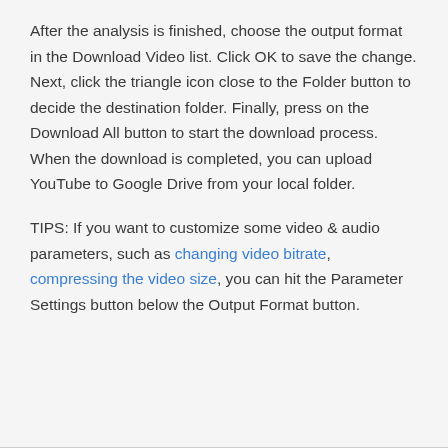After the analysis is finished, choose the output format in the Download Video list. Click OK to save the change. Next, click the triangle icon close to the Folder button to decide the destination folder. Finally, press on the Download All button to start the download process. When the download is completed, you can upload YouTube to Google Drive from your local folder.
TIPS: If you want to customize some video & audio parameters, such as changing video bitrate, compressing the video size, you can hit the Parameter Settings button below the Output Format button.